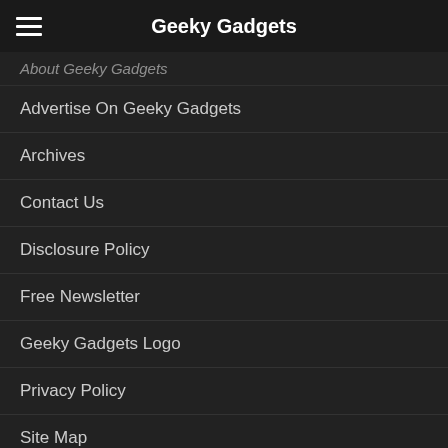Geeky Gadgets
About Geeky Gadgets
Advertise On Geeky Gadgets
Archives
Contact Us
Disclosure Policy
Free Newsletter
Geeky Gadgets Logo
Privacy Policy
Site Map
FURTHER READING